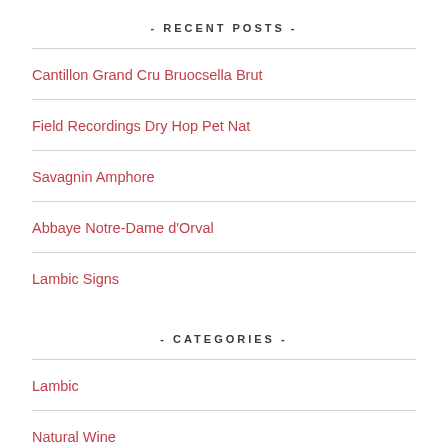- RECENT POSTS -
Cantillon Grand Cru Bruocsella Brut
Field Recordings Dry Hop Pet Nat
Savagnin Amphore
Abbaye Notre-Dame d'Orval
Lambic Signs
- CATEGORIES -
Lambic
Natural Wine